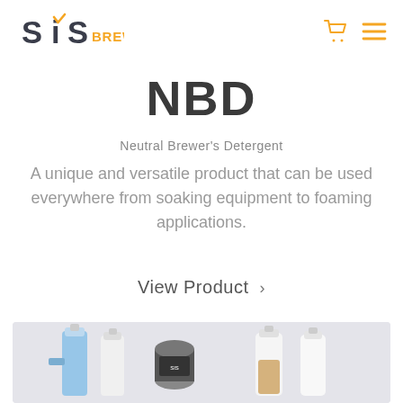SIS Brew logo with cart and menu icons
NBD
Neutral Brewer's Detergent
A unique and versatile product that can be used everywhere from soaking equipment to foaming applications.
View Product ›
[Figure (photo): Product photo showing cleaning solution bottles and containers on a light grey background]